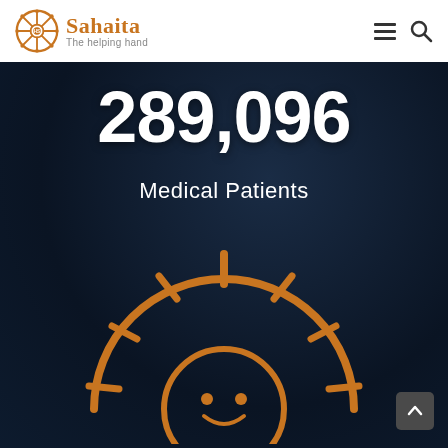[Figure (logo): Sahaita logo with ship wheel icon and tagline 'The helping hand']
289,096
Medical Patients
[Figure (illustration): Partial sun/light burst illustration in orange at the bottom of the dark section]